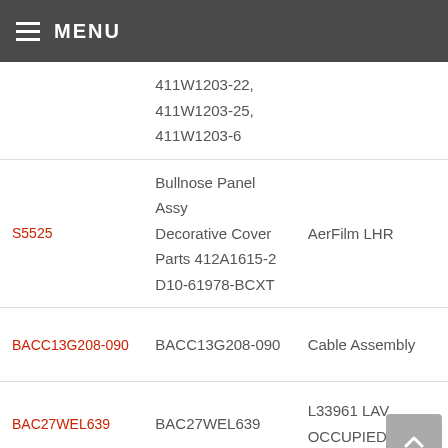MENU
| Part Number | Description/Part | Type |
| --- | --- | --- |
|  | 411W1203-22, 411W1203-25, 411W1203-6 |  |
| S5525 | Bullnose Panel Assy Decorative Cover Parts 412A1615-2 D10-61978-BCXT | AerFilm LHR |
| BACC13G208-090 | BACC13G208-090 | Cable Assembly |
| BAC27WEL639 | BAC27WEL639 | L33961 LAV OCCUPIED SIGN |